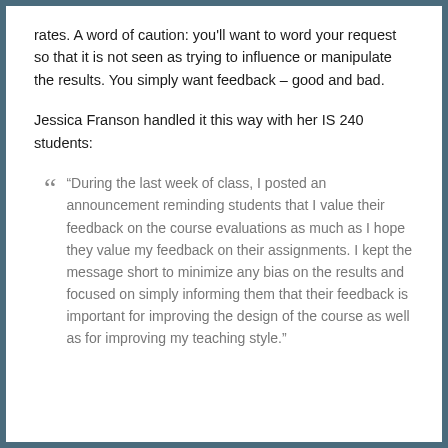rates. A word of caution: you'll want to word your request so that it is not seen as trying to influence or manipulate the results. You simply want feedback – good and bad.
Jessica Franson handled it this way with her IS 240 students:
“During the last week of class, I posted an announcement reminding students that I value their feedback on the course evaluations as much as I hope they value my feedback on their assignments. I kept the message short to minimize any bias on the results and focused on simply informing them that their feedback is important for improving the design of the course as well as for improving my teaching style.”